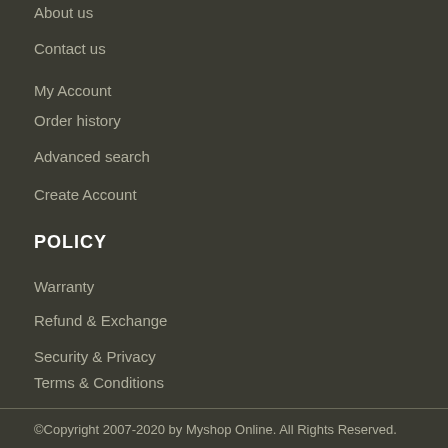About us
Contact us
My Account
Order history
Advanced search
Create Account
POLICY
Warranty
Refund & Exchange
Security & Privacy
Terms & Conditions
©Copyright 2007-2020 by Myshop Online. All Rights Reserved.